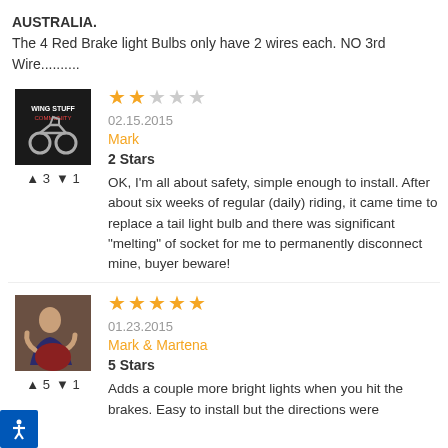AUSTRALIA.
The 4 Red Brake light Bulbs only have 2 wires each. NO 3rd Wire..........
[Figure (illustration): WingStuff Community avatar - dark background with motorcycle image and text]
▲3  ▼1
2 stars rating (02.15.2015)
Mark
2 Stars
OK, I'm all about safety, simple enough to install. After about six weeks of regular (daily) riding, it came time to replace a tail light bulb and there was significant "melting" of socket for me to permanently disconnect mine, buyer beware!
[Figure (photo): Photo of a person on a motorcycle, outdoor setting]
▲5  ▼1
5 stars rating (01.23.2015)
Mark & Martena
5 Stars
Adds a couple more bright lights when you hit the brakes. Easy to install but the directions were